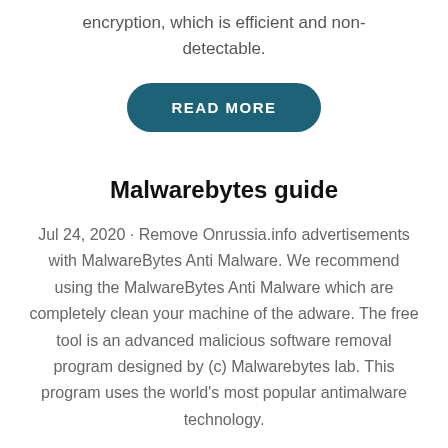encryption, which is efficient and non-detectable.
[Figure (other): READ MORE button - rounded teal/dark cyan pill-shaped button with white uppercase text]
Malwarebytes guide
Jul 24, 2020 · Remove Onrussia.info advertisements with MalwareBytes Anti Malware. We recommend using the MalwareBytes Anti Malware which are completely clean your machine of the adware. The free tool is an advanced malicious software removal program designed by (c) Malwarebytes lab. This program uses the world's most popular antimalware technology.
[Figure (other): READ MORE button - rounded teal/dark cyan pill-shaped button with white uppercase text (partially visible at bottom)]